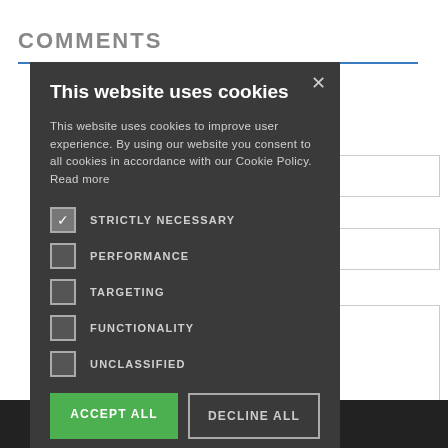COMMENTS
[Figure (screenshot): Cookie consent modal dialog overlay on a website. The modal has a dark background and contains the title 'This website uses cookies', descriptive text, checkboxes for STRICTLY NECESSARY (checked), PERFORMANCE, TARGETING, FUNCTIONALITY, UNCLASSIFIED, and two buttons: ACCEPT ALL (green) and DECLINE ALL (outlined), plus a SHOW DETAILS option with gear icon.]